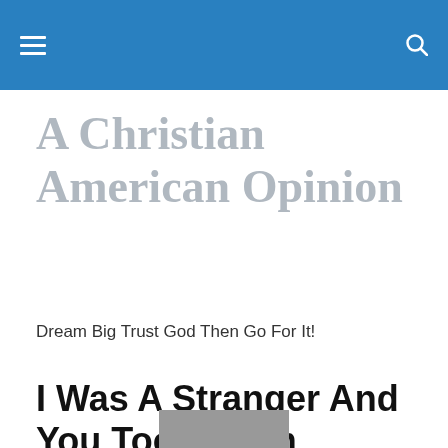A Christian American Opinion
Dream Big Trust God Then Go For It!
I Was A Stranger And You Took Me In
Privacy & Cookies: This site uses cookies. By continuing to use this website, you agree to their use.
To find out more, including how to control cookies, see here: Cookie Policy
Close and accept
[Figure (photo): Partial view of a photo at the bottom of the page]